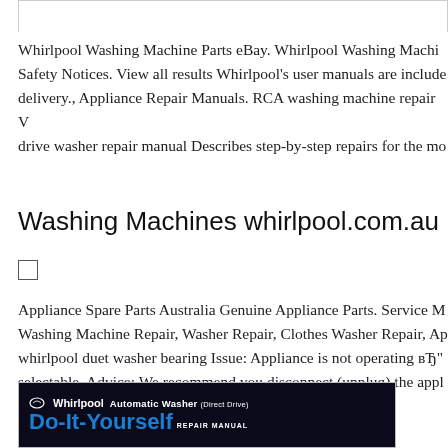Whirlpool Washing Machine Parts eBay. Whirlpool Washing Machine Safety Notices. View all results Whirlpool's user manuals are included delivery., Appliance Repair Manuals. RCA washing machine repair drive washer repair manual Describes step-by-step repairs for the mo
Washing Machines whirlpool.com.au
Appliance Spare Parts Australia Genuine Appliance Parts. Service M Washing Machine Repair, Washer Repair, Clothes Washer Repair, Ap whirlpool duet washer bearing Issue: Appliance is not operating вЂ" selectable. Advice: We recommend you disconnect (unplug) the appl for a.
[Figure (photo): Whirlpool Automatic Washer (Direct Drive) Do-It-Yourself Repair Manual book cover with blue text on dark background]